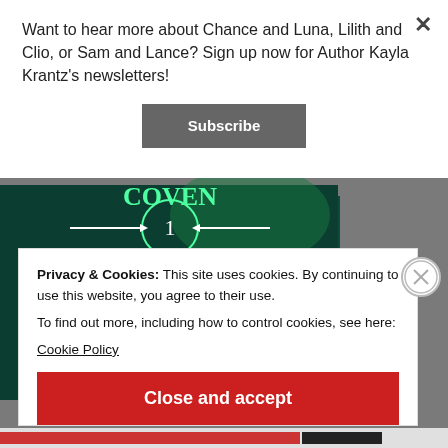Want to hear more about Chance and Luna, Lilith and Clio, or Sam and Lance? Sign up now for Author Kayla Krantz's newsletters!
[Figure (screenshot): Subscribe button - gray rounded rectangle with white bold text 'Subscribe']
[Figure (illustration): Book cover showing dark teal/green background with circular design, number 1, arrows, text 'THE WITCH'S AMBITIONS' and 'KAYLA KRANTZ' in teal letters]
Privacy & Cookies: This site uses cookies. By continuing to use this website, you agree to their use.
To find out more, including how to control cookies, see here:
Cookie Policy
[Figure (screenshot): Close and accept button - red rectangle with white bold text 'Close and accept']